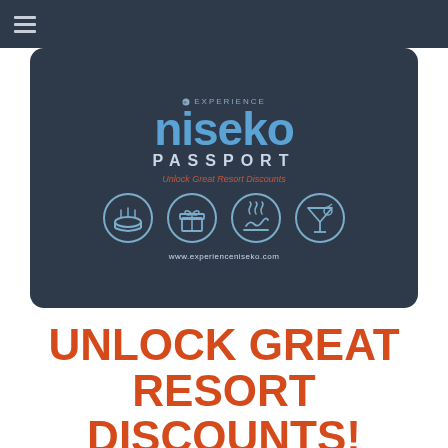[Figure (logo): Experience Niseko Passport card featuring the Niseko wordmark in blue, PASSPORT text, 'Unlock Great Resort Discounts' tagline in red italic, four circular icons (food/ramen, gift, onsen/steam, cocktail), and website www.experienceniseko.com on a dark navy background]
UNLOCK GREAT RESORT DISCOUNTS!